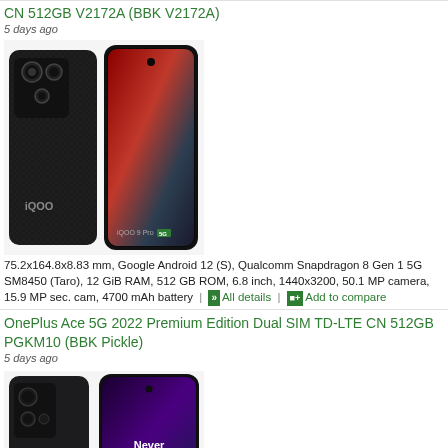CN 512GB V2172A (BBK V2172A)
5 days ago
[Figure (photo): iQOO 9 Pro smartphone shown from back and front angles, black color]
75.2x164.8x8.83 mm, Google Android 12 (S), Qualcomm Snapdragon 8 Gen 1 5G SM8450 (Taro), 12 GiB RAM, 512 GB ROM, 6.8 inch, 1440x3200, 50.1 MP camera, 15.9 MP sec. cam, 4700 mAh battery | All details | Add to compare
OnePlus Ace 5G 2022 Premium Edition Dual SIM TD-LTE CN 512GB PGKM10 (BBK Pickle)
5 days ago
[Figure (photo): OnePlus Ace 5G smartphone shown from back and front angles with Never Settle text visible]